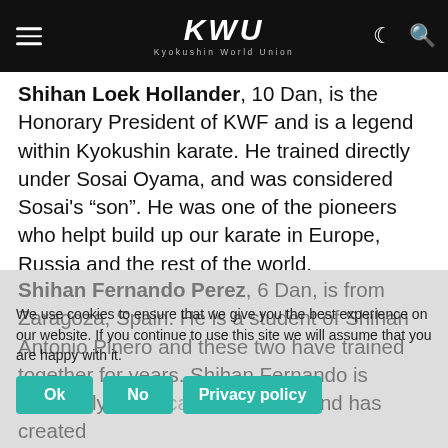KWU Kyokushin World Union
Shihan Loek Hollander, 10 Dan, is the Honorary President of KWF and is a legend within Kyokushin karate. He trained directly under Sosai Oyama, and was considered Sosai's “son”. He was one of the pioneers who helpt build up our karate in Europe, Russia and the rest of the world.
Shihan Lars Høgquist, 7 Dan, introduced Kyokushin to Norway in 1969. He is Norway’s highest-grade Kyokushin practitioner (7th) and was one of 4 founders of the Kyokushin World Federation (KWF) and is still the Treasurer of the KWF international organization.
Shihan Fernando Perez, 6 Dan, is from Zaragoza, Spain. He is a student of Shihan Antonio Pinero and these two have trained together for years. Shihan Fernando is extremely technical as a sensei and has created many super talents in Spain. He also speaks fluent
We use cookies to ensure that we give you the best experience on our website. If you continue to use this site we will assume that you are happy with it.